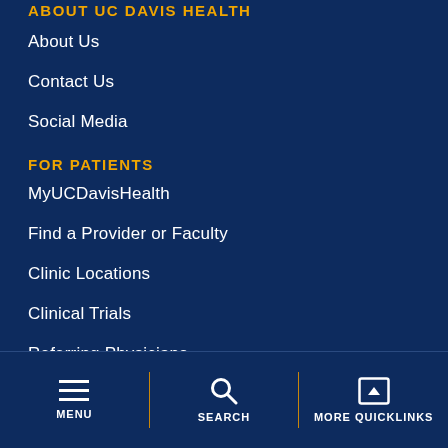ABOUT UC DAVIS HEALTH
About Us
Contact Us
Social Media
FOR PATIENTS
MyUCDavisHealth
Find a Provider or Faculty
Clinic Locations
Clinical Trials
Referring Physicians
Patient Financial Assistance
COVID-19 Information
MENU | SEARCH | MORE QUICKLINKS